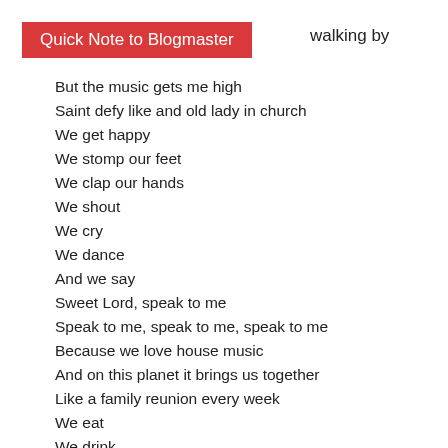Quick Note to Blogmaster
walking by
But the music gets me high
Saint defy like and old lady in church
We get happy
We stomp our feet
We clap our hands
We shout
We cry
We dance
And we say
Sweet Lord, speak to me
Speak to me, speak to me, speak to me
Because we love house music
And on this planet it brings us together
Like a family reunion every week
We eat
We drink
We laugh